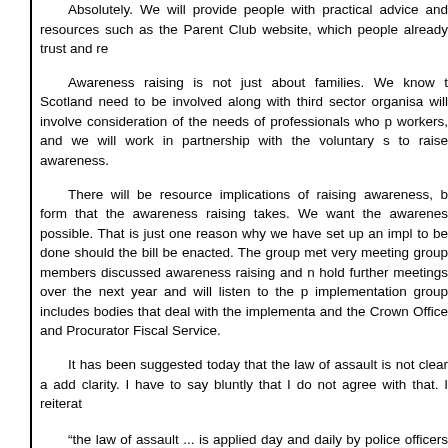Absolutely. We will provide people with practical advice and resources such as the Parent Club website, which people already trust and re[ly on].
Awareness raising is not just about families. We know that people across Scotland need to be involved along with third sector organisations. Our plan will involve consideration of the needs of professionals who p[rovide support to] workers, and we will work in partnership with the voluntary s[ector] to raise awareness.
There will be resource implications of raising awareness, but they depend on the form that the awareness raising takes. We want the awareness raising to be as possible. That is just one reason why we have set up an impl[ementation group] to be done should the bill be enacted. The group met ver[y recently]. At that meeting group members discussed awareness raising and m[any other topics.] [We will] hold further meetings over the next year and will listen to the p[eople involved]. The implementation group includes bodies that deal with the implementa[tion of the law] and the Crown Office and Procurator Fiscal Service.
It has been suggested today that the law of assault is not clear an[d that this bill will] add clarity. I have to say bluntly that I do not agree with that. I reitera[te that]
“the law of assault ... is applied day and daily by police officers an[d prosecutors].  clarity of the law.”—[Official Report, Equalities and Human Rights Comn[ittee,]
What the removal of the defence means is clear: parents and carers [will lose the] chastisement defence.
In conclusion, the Government supports removing the defence. I h[ope to give] children with equal protection from assault.